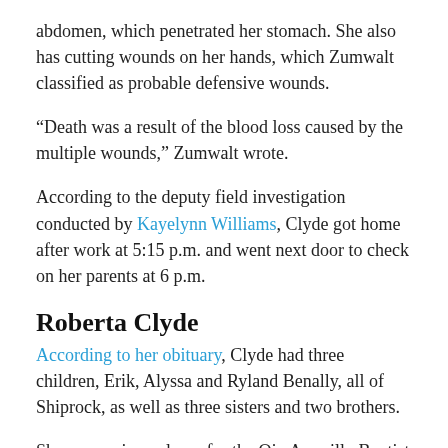abdomen, which penetrated her stomach. She also has cutting wounds on her hands, which Zumwalt classified as probable defensive wounds.
“Death was a result of the blood loss caused by the multiple wounds,” Zumwalt wrote.
According to the deputy field investigation conducted by Kayelynn Williams, Clyde got home after work at 5:15 p.m. and went next door to check on her parents at 6 p.m.
Roberta Clyde
According to her obituary, Clyde had three children, Erik, Alyssa and Ryland Benally, all of Shiprock, as well as three sisters and two brothers.
She was a piano player for the Ojo Amarillo Baptist Church.